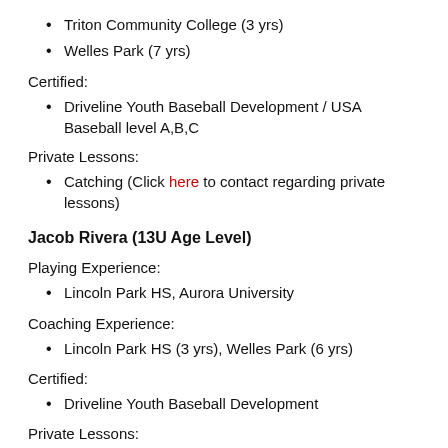Triton Community College (3 yrs)
Welles Park (7 yrs)
Certified:
Driveline Youth Baseball Development / USA Baseball level A,B,C
Private Lessons:
Catching (Click here to contact regarding private lessons)
Jacob Rivera (13U Age Level)
Playing Experience:
Lincoln Park HS, Aurora University
Coaching Experience:
Lincoln Park HS (3 yrs), Welles Park (6 yrs)
Certified:
Driveline Youth Baseball Development
Private Lessons: